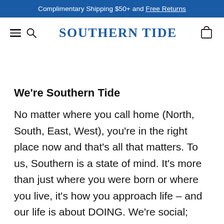Complimentary Shipping $50+ and Free Returns
SOUTHERN TIDE
We're Southern Tide
No matter where you call home (North, South, East, West), you're in the right place now and that's all that matters. To us, Southern is a state of mind. It's more than just where you were born or where you live, it's how you approach life – and our life is about DOING. We're social; we're adventurous; we're coastal and a slew of other things you'll find as we get